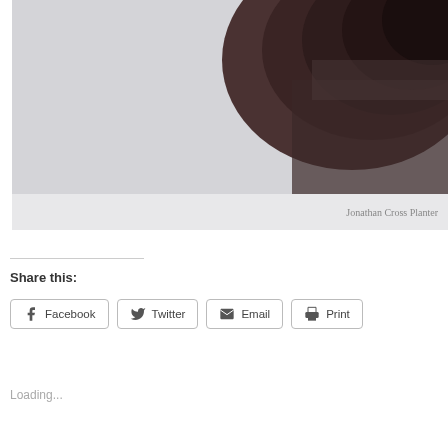[Figure (photo): Close-up photo of a dark stone or ceramic planter object against a light gray background, partially cropped at top-right]
Jonathan Cross Planter
Share this:
Facebook
Twitter
Email
Print
Loading...